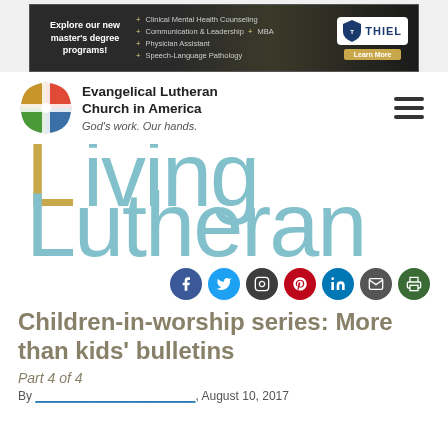[Figure (screenshot): Banner advertisement for Thiel College showing master's degree programs including Clinical Mental Health Counseling, Communication & Leadership, MBA, Physician Assistant, and Speech-Language Pathology.]
[Figure (logo): Evangelical Lutheran Church in America logo with cross/globe emblem, text 'Evangelical Lutheran Church in America' and tagline 'God's work. Our hands.']
[Figure (logo): Living Lutheran logo with stylized cross L and teal/blue text]
[Figure (infographic): Row of social media icons: Facebook (blue), Twitter (light blue), Instagram (dark gray), Pinterest (red), LinkedIn (blue), Email (gray), Print (green)]
Children-in-worship series: More than kids' bulletins
Part 4 of 4
By [author name], August 10, 2017